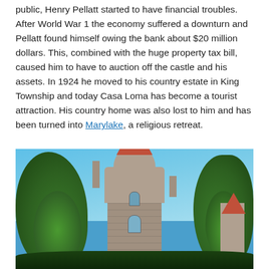public, Henry Pellatt started to have financial troubles. After World War 1 the economy suffered a downturn and Pellatt found himself owing the bank about $20 million dollars. This, combined with the huge property tax bill, caused him to have to auction off the castle and his assets. In 1924 he moved to his country estate in King Township and today Casa Loma has become a tourist attraction. His country home was also lost to him and has been turned into Marylake, a religious retreat.
[Figure (photo): Photograph of Casa Loma castle tower with a red conical roof, stone walls, chimneys, and surrounding green trees against a bright blue sky.]